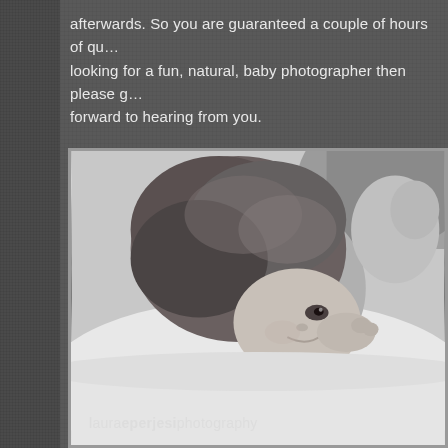afterwards. So you are guaranteed a couple of hours of qu... looking for a fun, natural, baby photographer then please g... forward to hearing from you.
[Figure (photo): Black and white photograph of a young child lying down, resting their head sideways, looking directly at the camera with a slight smile. The child appears to be on a white surface or bedding. The photo has a watermark 'lauraeperjesiphotography' in the lower left.]